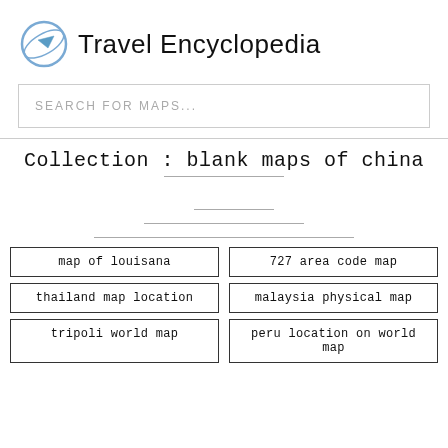Travel Encyclopedia
SEARCH FOR MAPS...
Collection : blank maps of china
map of louisana
727 area code map
thailand map location
malaysia physical map
tripoli world map
peru location on world map